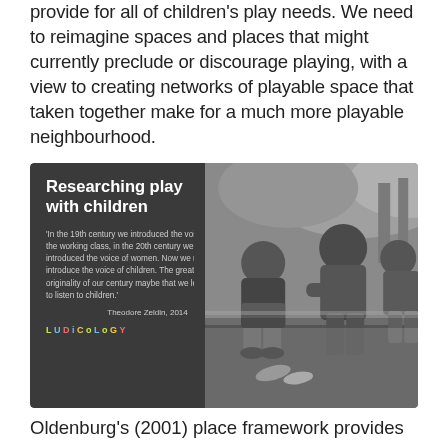provide for all of children's play needs. We need to reimagine spaces and places that might currently preclude or discourage playing, with a view to creating networks of playable space that taken together make for a much more playable neighbourhood.
[Figure (photo): Dark-panel slide with heading 'Researching play with children', a quote from Theodore Zeldin 2014 about introducing the voice of children, Ludicology logo, and a black-and-white photograph of children sitting/crouching together outdoors.]
Oldenburg's (2001) place framework provides a